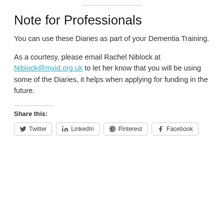Note for Professionals
You can use these Diaries as part of your Dementia Training.
As a courtesy, please email Rachel Niblock at Niblock@myid.org.uk to let her know that you will be using some of the Diaries, it helps when applying for funding in the future.
Share this:
Twitter  LinkedIn  Pinterest  Facebook